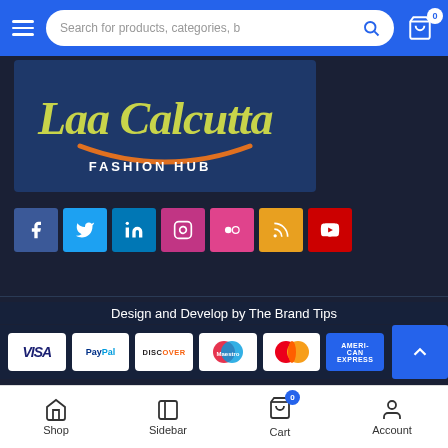Search for products, categories, b...
[Figure (logo): Laa Calcutta Fashion Hub logo — yellow-green cursive text on dark blue background with orange smile arc]
[Figure (infographic): Social media icon buttons: Facebook, Twitter, LinkedIn, Instagram, Flickr, RSS, YouTube]
Design and Develop by The Brand Tips
[Figure (infographic): Payment method logos: VISA, PayPal, DISCOVER, Maestro, MasterCard, American Express]
Shop  Sidebar  Cart  Account